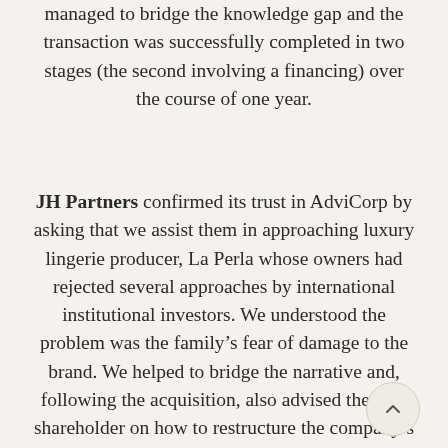managed to bridge the knowledge gap and the transaction was successfully completed in two stages (the second involving a financing) over the course of one year.
JH Partners confirmed its trust in AdviCorp by asking that we assist them in approaching luxury lingerie producer, La Perla whose owners had rejected several approaches by international institutional investors. We understood the problem was the family's fear of damage to the brand. We helped to bridge the narrative and, following the acquisition, also advised the new shareholder on how to restructure the company's debt.